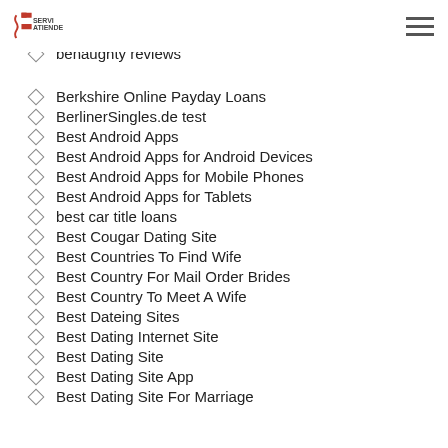Servi Atiende
Benaughty online dating
benaughty reviews
Berkshire Online Payday Loans
BerlinerSingles.de test
Best Android Apps
Best Android Apps for Android Devices
Best Android Apps for Mobile Phones
Best Android Apps for Tablets
best car title loans
Best Cougar Dating Site
Best Countries To Find Wife
Best Country For Mail Order Brides
Best Country To Meet A Wife
Best Dateing Sites
Best Dating Internet Site
Best Dating Site
Best Dating Site App
Best Dating Site For Marriage